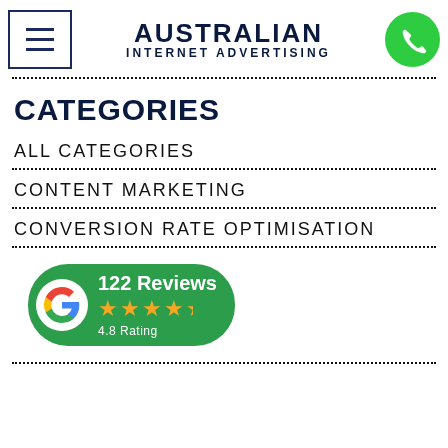Australian Internet Advertising — navigation header with menu button and phone button
CATEGORIES
ALL CATEGORIES
CONTENT MARKETING
CONVERSION RATE OPTIMISATION
[Figure (logo): Google Reviews badge: 122 Reviews, 4.8 Rating with 4.5 gold stars on green background]